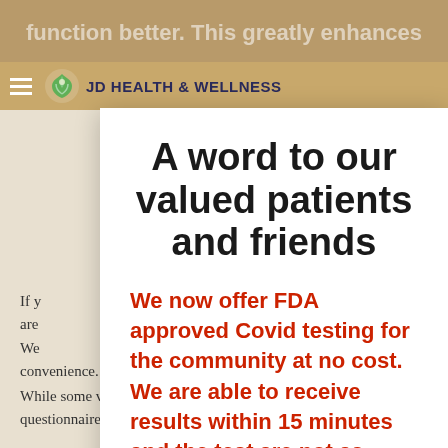JD HEALTH & WELLNESS
A word to our valued patients and friends
We now offer FDA approved Covid testing for the community at no cost. We are able to receive results within 15 minutes and the test are not as invasive as the pharyngeal swab test.
If y... are... We... convenience.
While some visits can be conducted via questionnaire and messaging (e-visit) or a secure